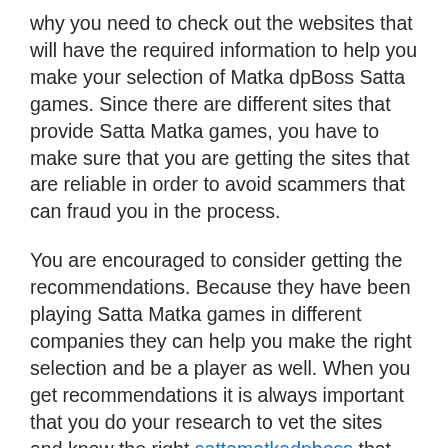why you need to check out the websites that will have the required information to help you make your selection of Matka dpBoss Satta games. Since there are different sites that provide Satta Matka games, you have to make sure that you are getting the sites that are reliable in order to avoid scammers that can fraud you in the process.
You are encouraged to consider getting the recommendations. Because they have been playing Satta Matka games in different companies they can help you make the right selection and be a player as well. When you get recommendations it is always important that you do your research to vet the sites and know the right sattamatkadpboss that you can enjoy playing.